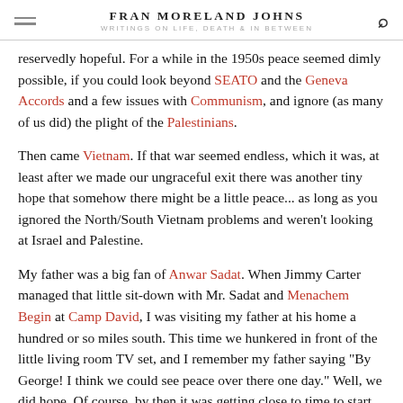FRAN MORELAND JOHNS — WRITINGS ON LIFE, DEATH & IN BETWEEN
reservedly hopeful. For a while in the 1950s peace seemed dimly possible, if you could look beyond SEATO and the Geneva Accords and a few issues with Communism, and ignore (as many of us did) the plight of the Palestinians.
Then came Vietnam. If that war seemed endless, which it was, at least after we made our ungraceful exit there was another tiny hope that somehow there might be a little peace... as long as you ignored the North/South Vietnam problems and weren't looking at Israel and Palestine.
My father was a big fan of Anwar Sadat. When Jimmy Carter managed that little sit-down with Mr. Sadat and Menachem Begin at Camp David, I was visiting my father at his home a hundred or so miles south. This time we hunkered in front of the little living room TV set, and I remember my father saying "By George! I think we could see peace over there one day." Well, we did hope. Of course, by then it was getting close to time to start looking at